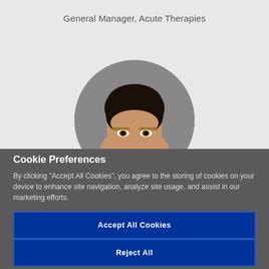General Manager, Acute Therapies
[Figure (photo): Circular profile photo of a man with dark hair, partially visible, overlapping into the cookie consent overlay]
Cookie Preferences
By clicking "Accept All Cookies", you agree to the storing of cookies on your device to enhance site navigation, analyze site usage, and assist in our marketing efforts.
Accept All Cookies
Reject All
Cookies Settings